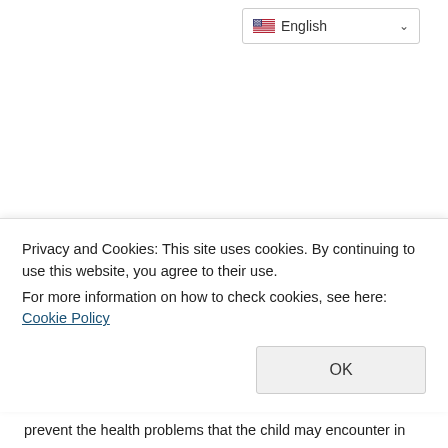[Figure (screenshot): Language selector dropdown showing English with US flag icon and chevron, positioned top right]
The Scottish Government has confirmed a first approach and it has tried to prevent the health problems that the child may encounter in
Privacy and Cookies: This site uses cookies. By continuing to use this website, you agree to their use.
For more information on how to check cookies, see here: Cookie Policy
OK